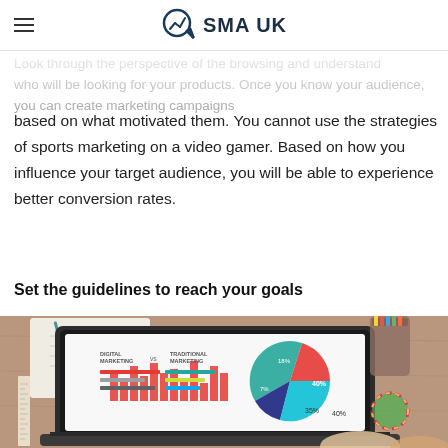SMA UK
Look through the perspective of the browsing and understand who will be looking for your products. Once you know your audience, you can create marketing campaigns based on what motivated them. You cannot use the strategies of sports marketing on a video gamer. Based on how you influence your target audience, you will be able to experience better conversion rates.
Set the guidelines to reach your goals
[Figure (photo): Laptop on a wooden desk showing marketing analytics dashboard with pie charts and bar charts, surrounded by notebooks, pencils, and office items. Person's hands visible on keyboard.]